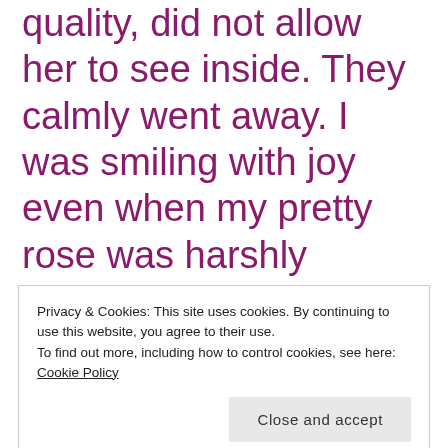quality, did not allow her to see inside. They calmly went away. I was smiling with joy even when my pretty rose was harshly plucked by the girl! I went out and collected the chocolates she had left as her token of apologies. Children grow up following the footsteps of their parents. It was nice to see the girl's mother made her understand the mistake. But, what was thrilling to note is the fact that the child came up with her own
Privacy & Cookies: This site uses cookies. By continuing to use this website, you agree to their use. To find out more, including how to control cookies, see here: Cookie Policy